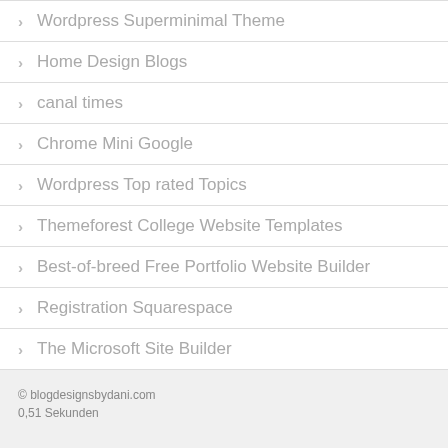Wordpress Superminimal Theme
Home Design Blogs
canal times
Chrome Mini Google
Wordpress Top rated Topics
Themeforest College Website Templates
Best-of-breed Free Portfolio Website Builder
Registration Squarespace
The Microsoft Site Builder
© blogdesignsbydani.com
0,51 Sekunden